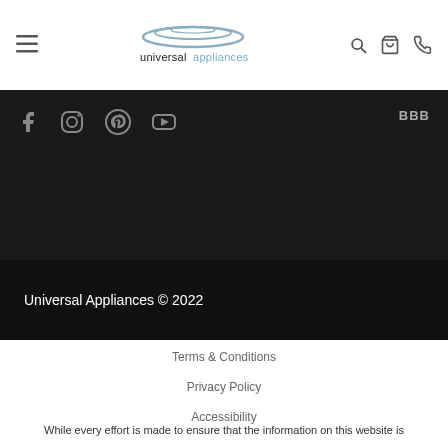[Figure (logo): Universal Appliances logo with stylized oval/dish shape above the text 'universal appliances']
[Figure (other): Dark navigation bar with social media icons (Facebook, Instagram, Pinterest, YouTube) and BBB text at right]
Universal Appliances © 2022
Terms & Conditions
Privacy Policy
Accessibility
While every effort is made to ensure that the information on this website is